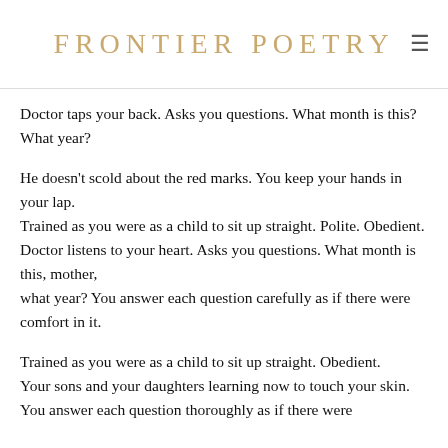FRONTIER POETRY
Doctor taps your back. Asks you questions. What month is this? What year?

He doesn't scold about the red marks. You keep your hands in your lap.
Trained as you were as a child to sit up straight. Polite. Obedient.
Doctor listens to your heart. Asks you questions. What month is this, mother,
what year? You answer each question carefully as if there were comfort in it.

Trained as you were as a child to sit up straight. Obedient.
Your sons and your daughters learning now to touch your skin.
You answer each question thoroughly as if there were